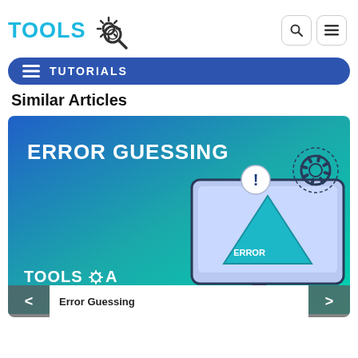[Figure (logo): ToolsQA logo with gear and magnifier icon, teal/blue text]
[Figure (screenshot): Navigation bar with hamburger menu and TUTORIALS label on blue rounded bar]
Similar Articles
[Figure (illustration): Error Guessing article card — gradient blue-teal background with ERROR text on a triangle inside a monitor illustration and ToolsQA logo]
Error Guessing